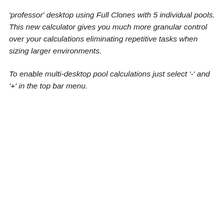'professor' desktop using Full Clones with 5 individual pools. This new calculator gives you much more granular control over your calculations eliminating repetitive tasks when sizing larger environments.
To enable multi-desktop pool calculations just select '-' and '+' in the top bar menu.